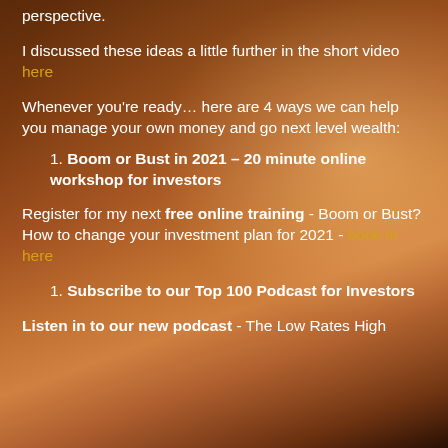perspective.
I discussed these ideas a little further in the short video here
Whenever you're ready… here are 4 ways we can help you manage your own money and go next level wealth:
1. Boom or Bust in 2021 – 20 minute online workshop for investors
Register for my next free online training - Boom or Bust? How to change your investment plan for 2021 - book in here
1. Subscribe to our Top 100 Podcast for Investors
Listen in to our new podcast - The Low Rates High